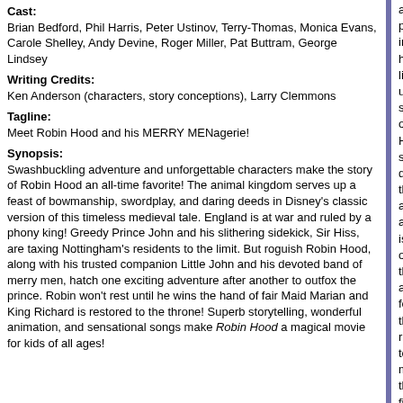Cast: Brian Bedford, Phil Harris, Peter Ustinov, Terry-Thomas, Monica Evans, Carole Shelley, Andy Devine, Roger Miller, Pat Buttram, George Lindsey
Writing Credits: Ken Anderson (characters, story conceptions), Larry Clemmons
Tagline: Meet Robin Hood and his MERRY MENagerie!
Synopsis: Swashbuckling adventure and unforgettable characters make the story of Robin Hood an all-time favorite! The animal kingdom serves up a feast of bowmanship, swordplay, and daring deeds in Disney's classic version of this timeless medieval tale. England is at war and ruled by a phony king! Greedy Prince John and his slithering sidekick, Sir Hiss, are taxing Nottingham's residents to the limit. But roguish Robin Hood, along with his trusted companion Little John and his devoted band of merry men, hatch one exciting adventure after another to outfox the prince. Robin won't rest until he wins the hand of fair Maid Marian and King Richard is restored to the throne! Superb storytelling, wonderful animation, and sensational songs make Robin Hood a magical movie for kids of all ages!
active participant in his life, unlike some o... He's still dull, though, and as is often the... along for the ride to make the film livelier.
Few of these characters work. As Little Jo... animated release. As Baloo in The Jungle... Aristocats, he branched out a little and v... O'Malley retained much of Baloo's swagg... greatly exceeded by the similarities. At le... for Little John. Here we again find Harris ... as an insanely blatant reprise of Baloo. T... no spark to the proceeding.
Almost none of the remaining supporting... interesting character was Prince John. Pe... although it's quite one-dimensional – Pri... malicious, sniveling coward - Ustinov at l... entertaining than anything else in the mo...
Perhaps this was just a transference of m... seems better drawn than the other roles.... more of an indictment of the relatively we... some of the sloppiest Disney art on reco... quality of the DVD transfer because so m... flit about the screen, and the general pre... some of the animation simply duplicates... Marian dances in the forest seems suspi...
Speaking of Maid Marian, does anyone e... related to Prince John - a lion? Yeah, I km... be nice. Actually, this connects to the mo...